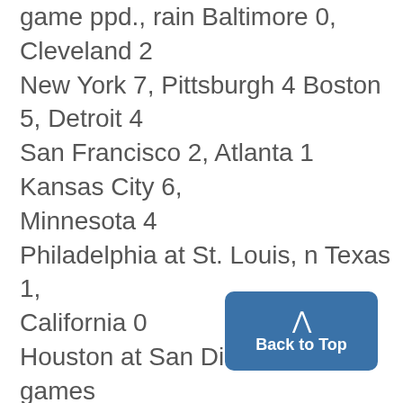game ppd., rain Baltimore 0, Cleveland 2 New York 7, Pittsburgh 4 Boston 5, Detroit 4 San Francisco 2, Atlanta 1 Kansas City 6, Minnesota 4 Philadelphia at St. Louis, n Texas 1, California 0 Houston at San Diego, n Only games scheduled Cincinnati at Los Angeles, n Today's Games Today's Games Chicago (Bonham 7-9 and Stone Kansas City (Splittorffl -7 and 2-4) at Montreal (Lang 1-1 and at Chicago (Johlnot